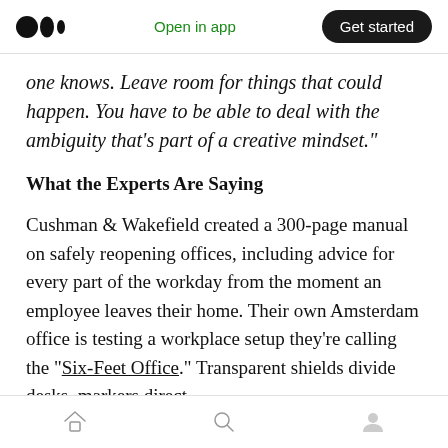Medium app header with logo, Open in app link, and Get started button
one knows. Leave room for things that could happen. You have to be able to deal with the ambiguity that’s part of a creative mindset.”
What the Experts Are Saying
Cushman & Wakefield created a 300-page manual on safely reopening offices, including advice for every part of the workday from the moment an employee leaves their home. Their own Amsterdam office is testing a workplace setup they’re calling the “Six-Feet Office.” Transparent shields divide desks, markers direct
Home, Search, Profile bottom navigation